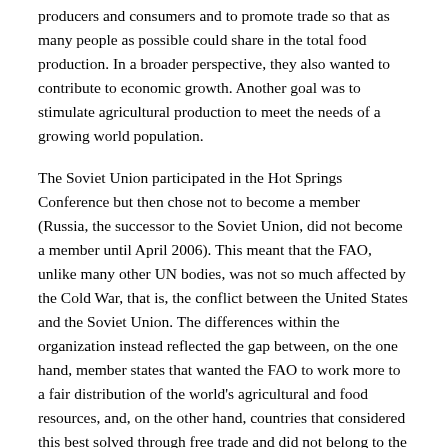producers and consumers and to promote trade so that as many people as possible could share in the total food production. In a broader perspective, they also wanted to contribute to economic growth. Another goal was to stimulate agricultural production to meet the needs of a growing world population.
The Soviet Union participated in the Hot Springs Conference but then chose not to become a member (Russia, the successor to the Soviet Union, did not become a member until April 2006). This meant that the FAO, unlike many other UN bodies, was not so much affected by the Cold War, that is, the conflict between the United States and the Soviet Union. The differences within the organization instead reflected the gap between, on the one hand, member states that wanted the FAO to work more to a fair distribution of the world's agricultural and food resources, and, on the other hand, countries that considered this best solved through free trade and did not belong to the FAO but to the GATT free trade body (see Glossary).